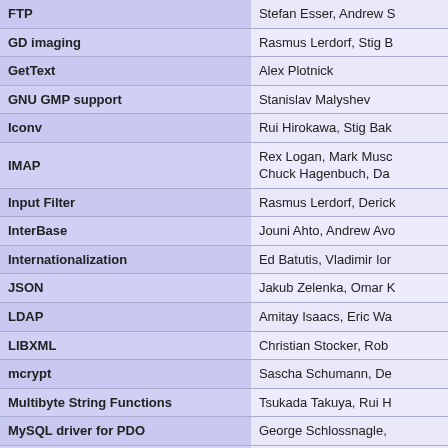| Extension/Feature | Authors/Contributors |
| --- | --- |
| FTP | Stefan Esser, Andrew S |
| GD imaging | Rasmus Lerdorf, Stig B |
| GetText | Alex Plotnick |
| GNU GMP support | Stanislav Malyshev |
| Iconv | Rui Hirokawa, Stig Bak |
| IMAP | Rex Logan, Mark Musc
Chuck Hagenbuch, Da |
| Input Filter | Rasmus Lerdorf, Derick |
| InterBase | Jouni Ahto, Andrew Avo |
| Internationalization | Ed Batutis, Vladimir Ior |
| JSON | Jakub Zelenka, Omar K |
| LDAP | Amitay Isaacs, Eric Wa |
| LIBXML | Christian Stocker, Rob |
| mcrypt | Sascha Schumann, De |
| Multibyte String Functions | Tsukada Takuya, Rui H |
| MySQL driver for PDO | George Schlossnagle, |
| MySQLi | Zak Greant, Georg Rick |
| MySQLnd | Andrey Hristov, Ulf Wer |
| OCI8 | Stig Bakken, Thies C. A
Gutmans, Wez Furlong |
| ODBC driver for PDO | Wez Furlong |